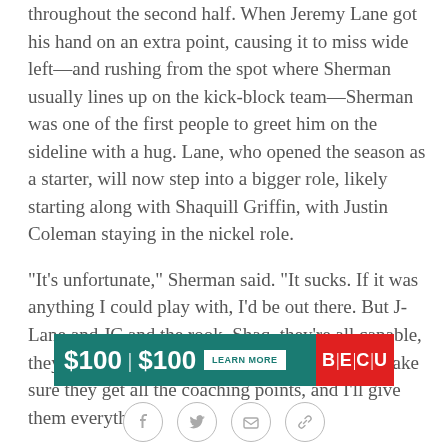throughout the second half. When Jeremy Lane got his hand on an extra point, causing it to miss wide left—and rushing from the spot where Sherman usually lines up on the kick-block team—Sherman was one of the first people to greet him on the sideline with a hug. Lane, who opened the season as a starter, will now step into a bigger role, likely starting along with Shaquill Griffin, with Justin Coleman staying in the nickel role.
"It's unfortunate," Sherman said. "It sucks. If it was anything I could play with, I'd be out there. But J-Lane and JC and the rook, Shaq, they're all capable, they'll do a great job. I'll stay in the room and make sure they get all the coaching points, and I'll give them everything.
[Figure (other): Advertisement banner: teal background showing '$100 | $100' with 'LEARN MORE' button and BECU red logo on right]
[Figure (other): Social sharing icons: Facebook, Twitter, Email, Link/chain]